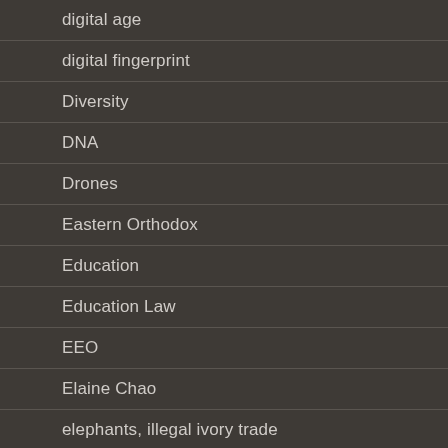digital age
digital fingerprint
Diversity
DNA
Drones
Eastern Orthodox
Education
Education Law
EEO
Elaine Chao
elephants, illegal ivory trade
Emil Guillermo